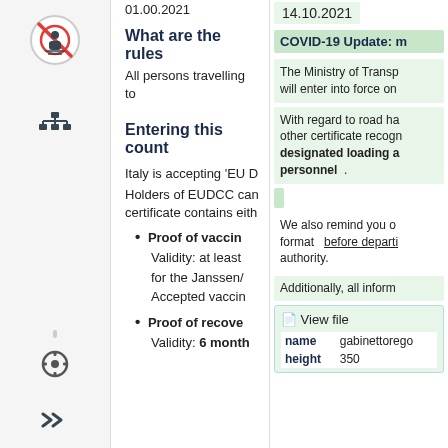01.00.2021
What are the rules
All persons travelling to
Entering this count
Italy is accepting 'EU D
Holders of EUDCC can certificate contains eith
Proof of vaccin Validity: at least for the Janssen/ Accepted vaccin
Proof of recove Validity: 6 month
14.10.2021
COVID-19 Update: m
The Ministry of Transp will enter into force on
With regard to road ha other certificate recogm designated loading a personnel .
We also remind you o format before departi authority.
Additionally, all inform
View file
| name |  |
| --- | --- |
| name | gabinettorego |
| height | 350 |